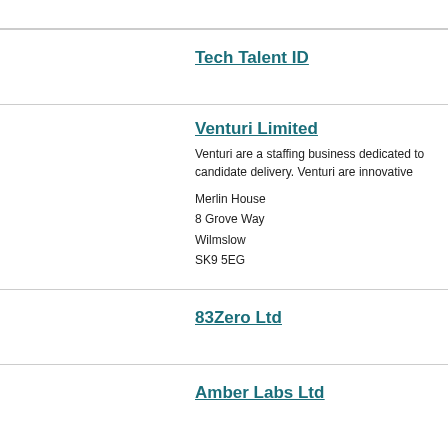Tech Talent ID
Venturi Limited
Venturi are a staffing business dedicated to candidate delivery. Venturi are innovative
Merlin House
8 Grove Way
Wilmslow
SK9 5EG
83Zero Ltd
Amber Labs Ltd